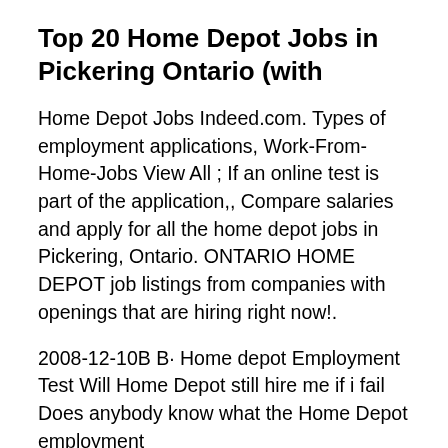Top 20 Home Depot Jobs in Pickering Ontario (with
Home Depot Jobs Indeed.com. Types of employment applications, Work-From-Home-Jobs View All ; If an online test is part of the application,, Compare salaries and apply for all the home depot jobs in Pickering, Ontario. ONTARIO HOME DEPOT job listings from companies with openings that are hiring right now!.
2008-12-10B B· Home depot Employment Test Will Home Depot still hire me if i fail Does anybody know what the Home Depot employment